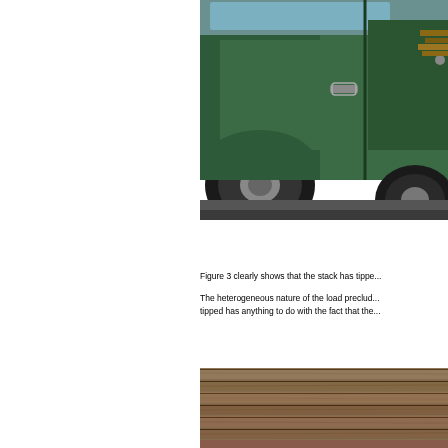[Figure (photo): Close-up photograph of a green truck cab showing the wheel/tyre area, door panel, and handle. The truck appears to have shifted or tilted, consistent with a load tipping incident.]
Figure 3 clearly shows that the stack has tippe...
The heterogeneous nature of the load preclud... tipped has anything to do with the fact that the...
[Figure (photo): Close-up photograph of stacked wooden planks or logs, showing rough-cut timber surfaces stacked horizontally.]